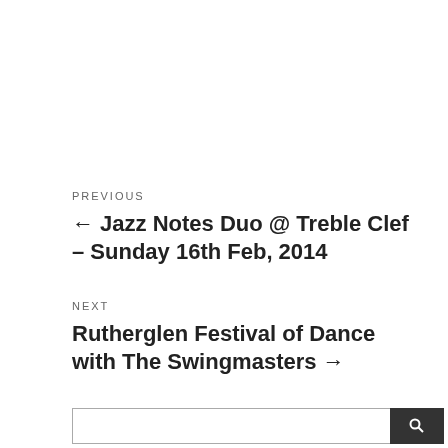PREVIOUS
← Jazz Notes Duo @ Treble Clef – Sunday 16th Feb, 2014
NEXT
Rutherglen Festival of Dance with The Swingmasters →